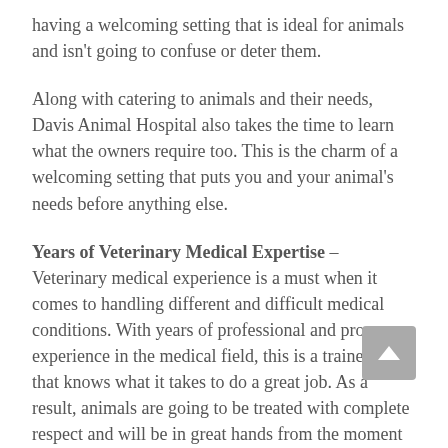having a welcoming setting that is ideal for animals and isn't going to confuse or deter them.
Along with catering to animals and their needs, Davis Animal Hospital also takes the time to learn what the owners require too. This is the charm of a welcoming setting that puts you and your animal's needs before anything else.
Years of Veterinary Medical Expertise – Veterinary medical experience is a must when it comes to handling different and difficult medical conditions. With years of professional and proven experience in the medical field, this is a trained staff that knows what it takes to do a great job. As a result, animals are going to be treated with complete respect and will be in great hands from the moment they come in.
This is a great way to feel safe about who is providing treatment and how the process is going to be carried out.